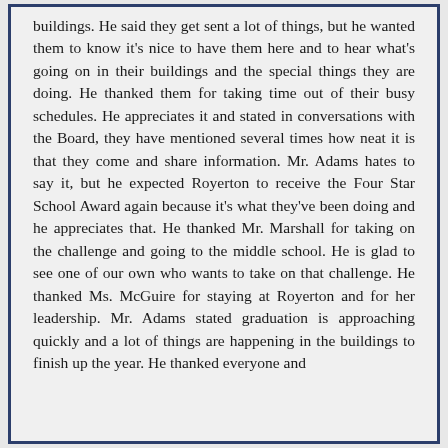buildings.  He said they get sent a lot of things, but he wanted them to know it's nice to have them here and to hear what's going on in their buildings and the special things they are doing.  He thanked them for taking time out of their busy schedules.  He appreciates it and stated in conversations with the Board, they have mentioned several times how neat it is that they come and share information.  Mr. Adams hates to say it, but he expected Royerton to receive the Four Star School Award again because it's what they've been doing and he appreciates that.  He thanked Mr. Marshall for taking on the challenge and going to the middle school.  He is glad to see one of our own who wants to take on that challenge.  He thanked Ms. McGuire for staying at Royerton and for her leadership.  Mr. Adams stated graduation is approaching quickly and a lot of things are happening in the buildings to finish up the year.  He thanked everyone and